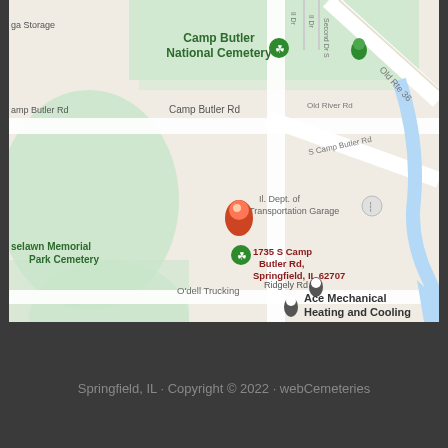[Figure (map): Google Maps screenshot showing Camp Butler National Cemetery, Il. Dept. of Transportation Garage at 1735 S Camp Butler Rd Springfield IL 62707, O'dell Trucking, Roselawn Memorial Park Cemetery, Superior Dental Laboratory, Ace Mechanical Heating and Cooling, Ridgely Rd, Camp Butler Rd, Old River Rd, S Camp Butler Rd, Old Rte 36]
Springfield, IL · Copyright © 2022 · webCemeteries